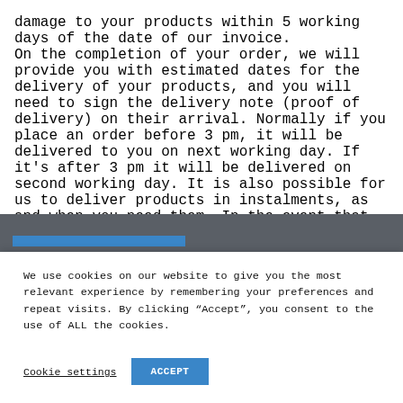damage to your products within 5 working days of the date of our invoice.

On the completion of your order, we will provide you with estimated dates for the delivery of your products, and you will need to sign the delivery note (proof of delivery) on their arrival. Normally if you place an order before 3 pm, it will be delivered to you on next working day. If it's after 3 pm it will be delivered on second working day. It is also possible for us to deliver products in instalments, as and when you need them. In the event that you receive the wrong products or are charged incorrectly, we will be happy to replace the product, but may charge you additional fees for return transportation and administrative expenses. Nor will we reimburse original carriage costs.
We use cookies on our website to give you the most relevant experience by remembering your preferences and repeat visits. By clicking “Accept”, you consent to the use of ALL the cookies.
Cookie settings
ACCEPT